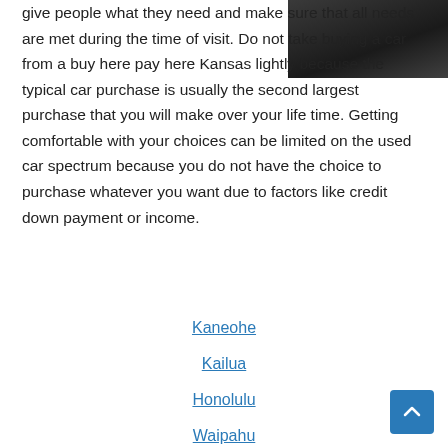[Figure (photo): Dark road or pavement photo in upper right corner]
give people what they need and make sure that all needs are met during the time of visit. Do not take buying a car from a buy here pay here Kansas lightly because the typical car purchase is usually the second largest purchase that you will make over your life time. Getting comfortable with your choices can be limited on the used car spectrum because you do not have the choice to purchase whatever you want due to factors like credit down payment or income.
Kaneohe
Kailua
Honolulu
Waipahu